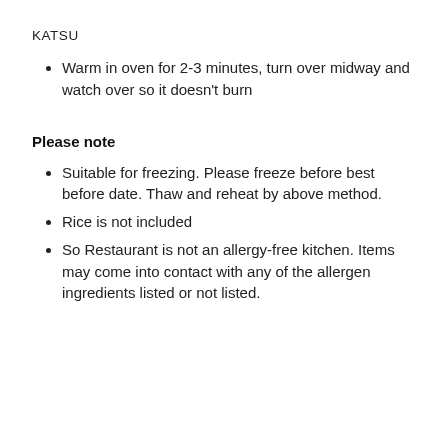KATSU
Warm in oven for 2-3 minutes, turn over midway and watch over so it doesn't burn
Please note
Suitable for freezing. Please freeze before best before date. Thaw and reheat by above method.
Rice is not included
So Restaurant is not an allergy-free kitchen. Items may come into contact with any of the allergen ingredients listed or not listed.